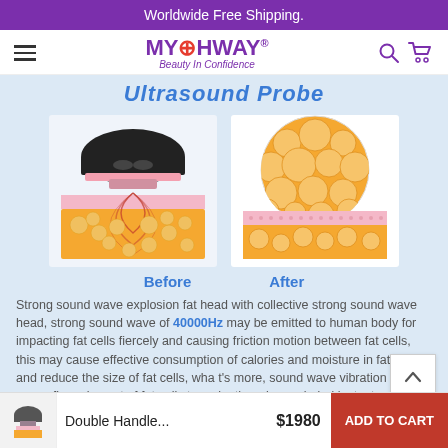Worldwide Free Shipping.
[Figure (logo): MYCHWAY logo with globe icon, tagline: Beauty In Confidence]
Ultrasound Probe
[Figure (illustration): Before image: ultrasound device probe head emitting sound waves into fat tissue layer (cross-section showing fat cells and skin). After image: fat cells broken down, fewer and smaller cells visible in cross-section.]
Before    After
Strong sound wave explosion fat head with collective strong sound wave head, strong sound wave of 40000Hz may be emitted to human body for impacting fat cells fiercely and causing friction motion between fat cells, this may cause effective consumption of calories and moisture in fat cells and reduce the size of fat cells, what's more, sound wave vibration may cause fierce impact of fat cells to make them be exploded instantaneously, reduce the amount of fat cells and thereby achieve the
Double Handle...    $1980    ADD TO CART